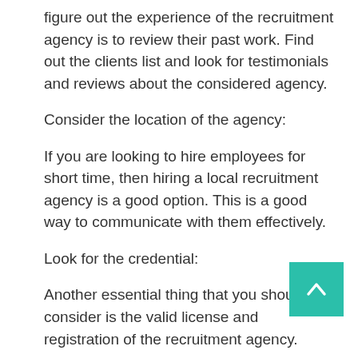figure out the experience of the recruitment agency is to review their past work. Find out the clients list and look for testimonials and reviews about the considered agency.
Consider the location of the agency:
If you are looking to hire employees for short time, then hiring a local recruitment agency is a good option. This is a good way to communicate with them effectively.
Look for the credential:
Another essential thing that you should consider is the valid license and registration of the recruitment agency.
Click over here now to find the best recruiter